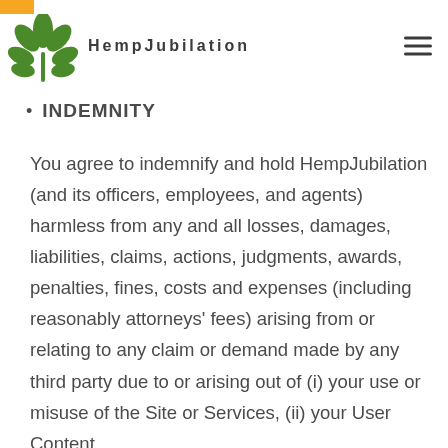r any other person.
HempJubilation
INDEMNITY
You agree to indemnify and hold HempJubilation (and its officers, employees, and agents) harmless from any and all losses, damages, liabilities, claims, actions, judgments, awards, penalties, fines, costs and expenses (including reasonably attorneys’ fees) arising from or relating to any claim or demand made by any third party due to or arising out of (i) your use or misuse of the Site or Services, (ii) your User Content,